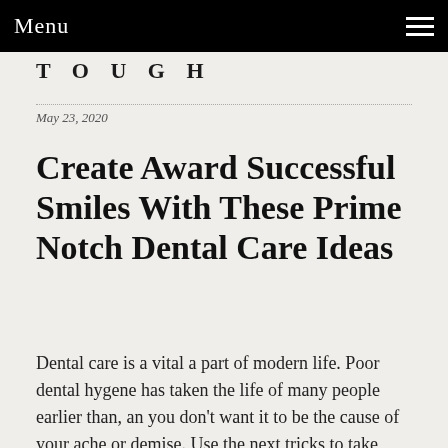Menu
TOUGH
May 23, 2020
Create Award Successful Smiles With These Prime Notch Dental Care Ideas
Dental care is a vital a part of modern life. Poor dental hygene has taken the life of many people earlier than, an you don't want it to be the cause of your ache or demise. Use the next tricks to take great care of your teeth. t…